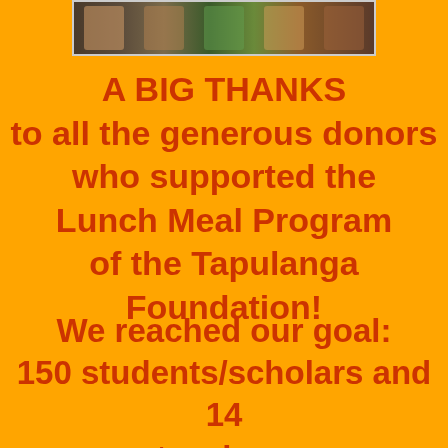[Figure (photo): Strip of photos showing people at the Lunch Meal Program, partially visible at top of page]
A BIG THANKS to all the generous donors who supported the Lunch Meal Program of the Tapulanga Foundation!
We reached our goal: 150 students/scholars and 14 teachers of St. Francis of Assisi School of Silay City